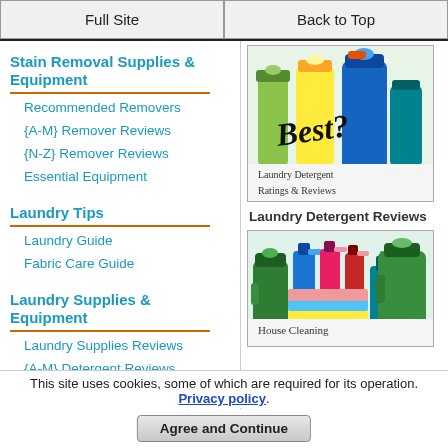Full Site | Back to Top
Stain Removal Supplies & Equipment
Recommended Removers
{A-M} Remover Reviews
{N-Z} Remover Reviews
Essential Equipment
[Figure (photo): Laundry detergent bottles with 'Best?' handwritten text overlay]
Laundry Detergent Reviews
Laundry Tips
Laundry Guide
Fabric Care Guide
Laundry Supplies & Equipment
Laundry Supplies Reviews
{A-M} Detergent Reviews
{N-Z} Detergent Reviews
[Figure (photo): House cleaning supplies and bottles with 'House Cleaning' text]
This site uses cookies, some of which are required for its operation. Privacy policy.
Agree and Continue